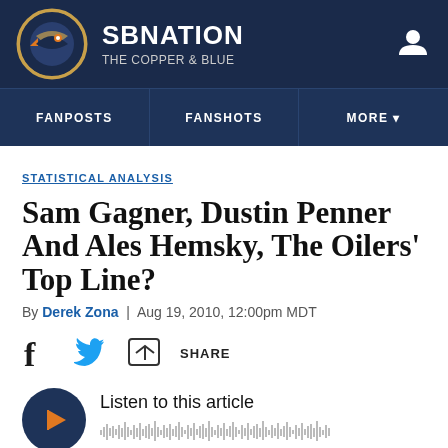SBNation - The Copper & Blue
STATISTICAL ANALYSIS
Sam Gagner, Dustin Penner And Ales Hemsky, The Oilers' Top Line?
By Derek Zona | Aug 19, 2010, 12:00pm MDT
[Figure (other): Social share bar with Facebook, Twitter and share icons]
[Figure (other): Audio player widget with play button and waveform. Text: Listen to this article]